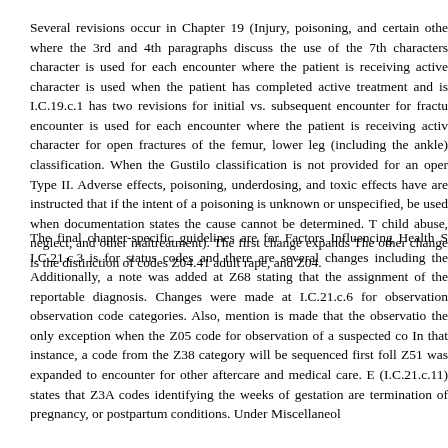Several revisions occur in Chapter 19 (Injury, poisoning, and certain other consequences of external causes) where the 3rd and 4th paragraphs discuss the use of the 7th characters 'A', 'D', and 'S'. The 'A' character is used for each encounter where the patient is receiving active treatment for the condition. The 'D' character is used when the patient has completed active treatment and is receiving routine care. I.C.19.c.1 has two revisions for initial vs. subsequent encounter for fractures. The 'A' 7th character for initial encounter is used for each encounter where the patient is receiving active treatment for the fracture. The 7th character for open fractures of the femur, lower leg (including the ankle) are now based on the Gustilo open fracture classification. When the Gustilo classification is not provided for an open fracture, the 7th character for initial encounter, Type II. Adverse effects, poisoning, underdosing, and toxic effects have a revision at I.C.19.e.5(b) where coders are instructed that if the intent of a poisoning is unknown or unspecified, code the intent as undetermined. This code should be used when documentation states the cause cannot be determined. The last revision is at I.C.19 and involves child abuse, neglect, and other maltreatment). The first change expands the definition of adult and child abuse. The other change is the distinction of codes Z04.41 adult rape, and Z04.
The final chapter-specific guidelines are for Factors Influencing Health Status and Contact with Health Services. I.C.21.c.3 is for status codes and there are several changes including the adding of new status codes. Additionally, a note was added at Z68 stating that the assignment of the code is appropriate only as a secondary reportable diagnosis. Changes were made at I.C.21.c.6 for observation encounters and now lists all of the observation code categories. Also, mention is made that the observation codes are to be sequenced first as the principal diagnosis, the only exception when the Z05 code for observation of a suspected co is confirmed as present, and it affects the care provided. In that instance, a code from the Z38 category will be sequenced first followed by the confirmed condition. Z51 was expanded to encounter for other aftercare and medical care. E new status code guideline (I.C.21.c.11) states that Z3A codes identifying the weeks of gestation are appropriate only for obstetric records in the current trimester of pregnancy, or postpartum conditions. Under Miscellaneous